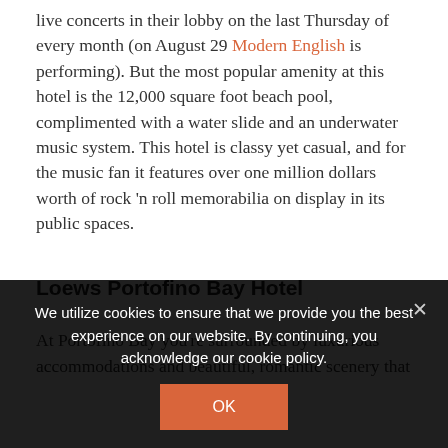live concerts in their lobby on the last Thursday of every month (on August 29 Modern English is performing). But the most popular amenity at this hotel is the 12,000 square foot beach pool, complimented with a water slide and an underwater music system. This hotel is classy yet casual, and for the music fan it features over one million dollars worth of rock 'n roll memorabilia on display in its public spaces.
Loews Portofino Bay Hotel
At Portofino Bay you're surrounded by luxurious accommodations and beautiful, romantic scenery that
We utilize cookies to ensure that we provide you the best experience on our website. By continuing, you acknowledge our cookie policy.